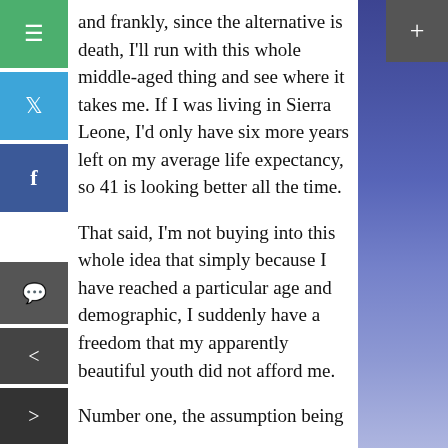and frankly, since the alternative is death, I'll run with this whole middle-aged thing and see where it takes me. If I was living in Sierra Leone, I'd only have six more years left on my average life expectancy, so 41 is looking better all the time.
That said, I'm not buying into this whole idea that simply because I have reached a particular age and demographic, I suddenly have a freedom that my apparently beautiful youth did not afford me.
Number one, the assumption being